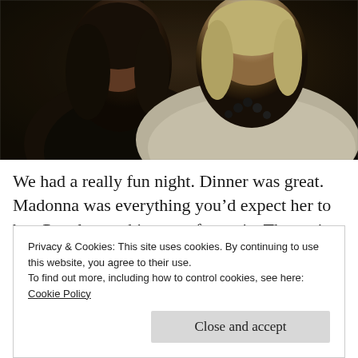[Figure (photo): Two women posing together at what appears to be a nighttime indoor/restaurant event. The woman on the left wears a dark outfit, the woman on the right wears a white jacket with a dark beaded necklace. The background is dark.]
We had a really fun night. Dinner was great. Madonna was everything you’d expect her to be.  People watching was fantastic. The variety of gay/straight, old/young, conservative/outlandishly dressed people to watch and observe was probably my favorite part of the night
Privacy & Cookies: This site uses cookies. By continuing to use this website, you agree to their use.
To find out more, including how to control cookies, see here:
Cookie Policy
Close and accept